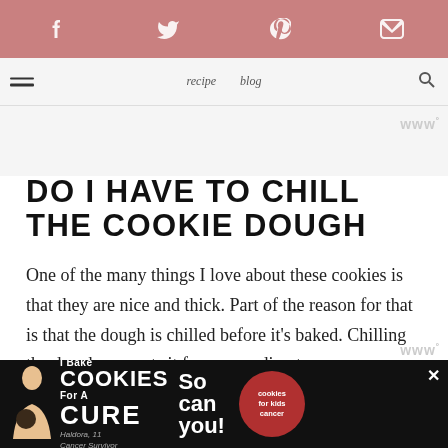Social share icons: Facebook, Twitter, Pinterest, Email
Navigation bar
DO I HAVE TO CHILL THE COOKIE DOUGH
One of the many things I love about these cookies is that they are nice and thick. Part of the reason for that is that the dough is chilled before it's baked. Chilling the dough prevents it from spreading too
[Figure (other): Advertisement banner: I Bake COOKIES For A CURE - Haldora, 11 Cancer Survivor - So can you! - cookies for kids cancer logo]